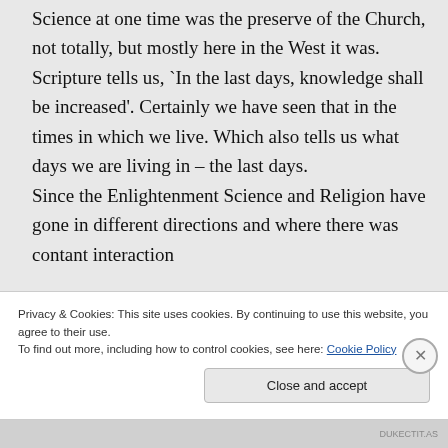Science at one time was the preserve of the Church, not totally, but mostly here in the West it was. Scripture tells us, `In the last days, knowledge shall be increased'. Certainly we have seen that in the times in which we live. Which also tells us what days we are living in – the last days. Since the Enlightenment Science and Religion have gone in different directions and where there was contant interaction
Privacy & Cookies: This site uses cookies. By continuing to use this website, you agree to their use. To find out more, including how to control cookies, see here: Cookie Policy